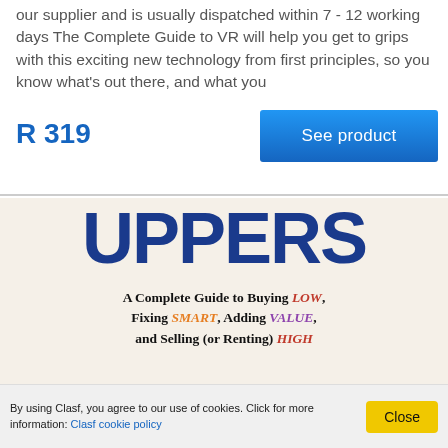our supplier and is usually dispatched within 7 - 12 working days The Complete Guide to VR will help you get to grips with this exciting new technology from first principles, so you know what's out there, and what you
R 319
See product
[Figure (photo): Book cover image showing 'UPPERS' in large blue bold text with subtitle 'A Complete Guide to Buying LOW, Fixing SMART, Adding VALUE, and Selling (or Renting) HIGH']
By using Clasf, you agree to our use of cookies. Click for more information: Clasf cookie policy
Close